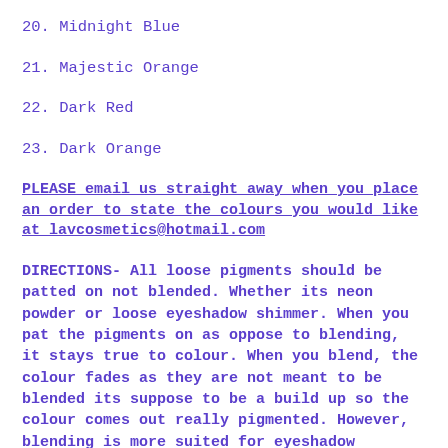20. Midnight Blue
21. Majestic Orange
22. Dark Red
23. Dark Orange
PLEASE email us straight away when you place an order to state the colours you would like at lavcosmetics@hotmail.com
DIRECTIONS- All loose pigments should be patted on not blended. Whether its neon powder or loose eyeshadow shimmer. When you pat the pigments on as oppose to blending, it stays true to colour. When you blend, the colour fades as they are not meant to be blended its suppose to be a build up so the colour comes out really pigmented. However, blending is more suited for eyeshadow palettes. We also recommend a really good eyeshadow base such